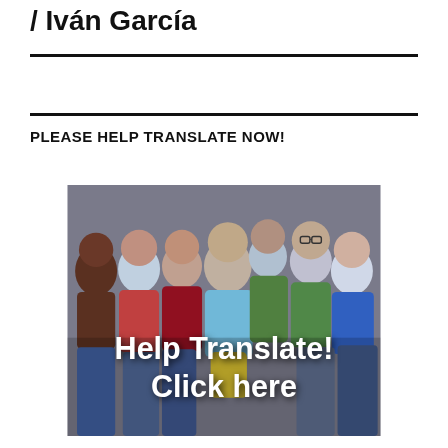/ Iván García
PLEASE HELP TRANSLATE NOW!
[Figure (photo): Group photo of children smiling together, with overlaid bold white text reading 'Help Translate! Click here']